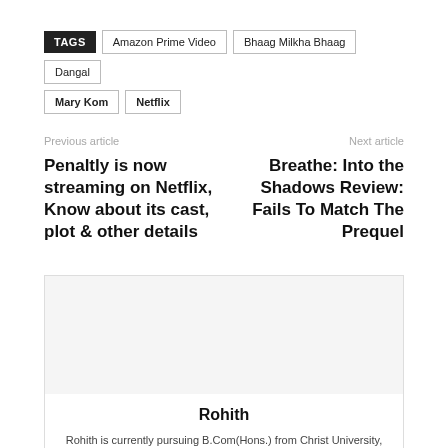TAGS  Amazon Prime Video  Bhaag Milkha Bhaag  Dangal  Mary Kom  Netflix
Previous article
Next article
Penaltly is now streaming on Netflix, Know about its cast, plot & other details
Breathe: Into the Shadows Review: Fails To Match The Prequel
Rohith
Rohith is currently pursuing B.Com(Hons.) from Christ University, Bangalore. He is deeply passionate about cinema and writing and